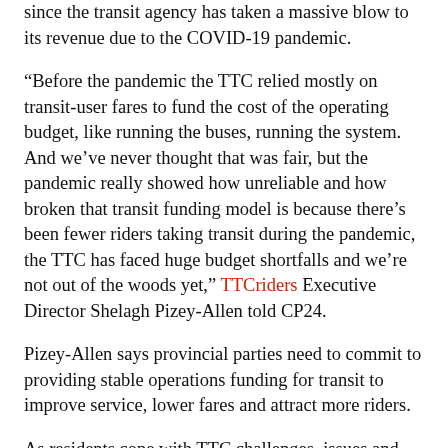since the transit agency has taken a massive blow to its revenue due to the COVID-19 pandemic.
“Before the pandemic the TTC relied mostly on transit-user fares to fund the cost of the operating budget, like running the buses, running the system. And we’ve never thought that was fair, but the pandemic really showed how unreliable and how broken that transit funding model is because there’s been fewer riders taking transit during the pandemic, the TTC has faced huge budget shortfalls and we’re not out of the woods yet,” TTCriders Executive Director Shelagh Pizey-Allen told CP24.
Pizey-Allen says provincial parties need to commit to providing stable operations funding for transit to improve service, lower fares and attract more riders.
As residents cope with TTC challenges, issues and delays with transit construction remain a constant battle as well.